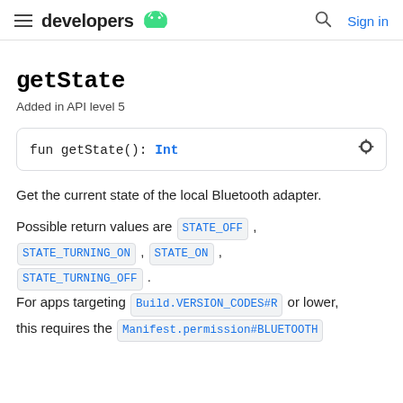developers   Sign in
getState
Added in API level 5
fun getState(): Int
Get the current state of the local Bluetooth adapter.
Possible return values are STATE_OFF , STATE_TURNING_ON , STATE_ON , STATE_TURNING_OFF . For apps targeting Build.VERSION_CODES#R or lower, this requires the Manifest.permission#BLUETOOTH